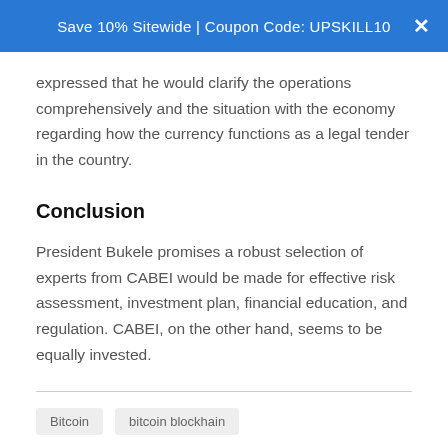Save 10% Sitewide | Coupon Code: UPSKILL10
expressed that he would clarify the operations comprehensively and the situation with the economy regarding how the currency functions as a legal tender in the country.
Conclusion
President Bukele promises a robust selection of experts from CABEI would be made for effective risk assessment, investment plan, financial education, and regulation. CABEI, on the other hand, seems to be equally invested.
Bitcoin   bitcoin blockhain